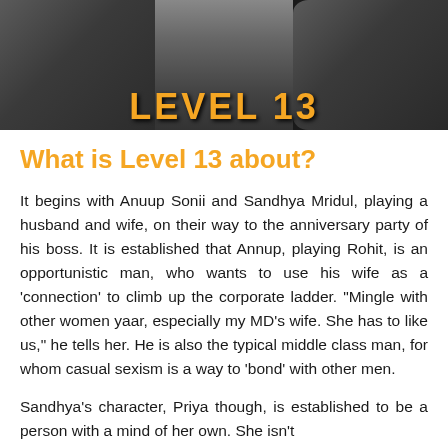[Figure (photo): Black and white movie poster image showing three actors' faces — a woman on the left, a man in the center, and a woman on the right. The title 'LEVEL 13' appears in large bold yellow-orange letters at the bottom of the image.]
What is Level 13 about?
It begins with Anuup Sonii and Sandhya Mridul, playing a husband and wife, on their way to the anniversary party of his boss. It is established that Annup, playing Rohit, is an opportunistic man, who wants to use his wife as a ‘connection’ to climb up the corporate ladder. “Mingle with other women yaar, especially my MD’s wife. She has to like us,” he tells her. He is also the typical middle class man, for whom casual sexism is a way to ‘bond’ with other men.
Sandhya’s character, Priya though, is established to be a person with a mind of her own. She isn’t